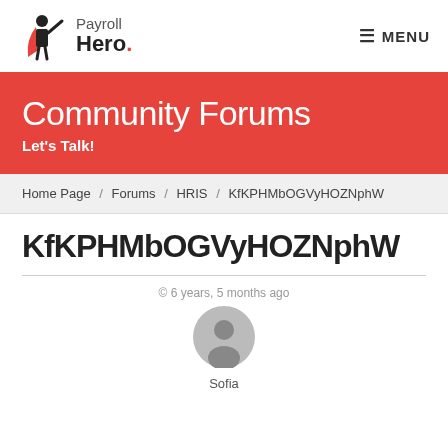[Figure (logo): Payroll Hero logo with stylized figure wearing cape and text 'Payroll Hero.']
≡ MENU
Community Forums
Let's Talk!
Home Page / Forums / HRIS / KfKPHMbOGVyHOZNphW
KfKPHMbOGVyHOZNphW
© 6 years, 5 months ago
[Figure (illustration): Generic user avatar circle icon]
Sofia